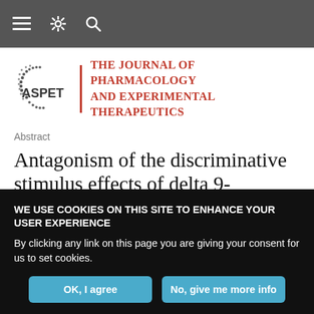Navigation bar with menu, settings, and search icons
[Figure (logo): ASPET logo with dotted circular emblem and text, vertical red divider bar, then journal title 'The Journal of Pharmacology and Experimental Therapeutics' in red serif text]
Abstract
Antagonism of the discriminative stimulus effects of delta 9-tetrahydrocannabinol in rats and
WE USE COOKIES ON THIS SITE TO ENHANCE YOUR USER EXPERIENCE

By clicking any link on this page you are giving your consent for us to set cookies.
OK, I agree | No, give me more info